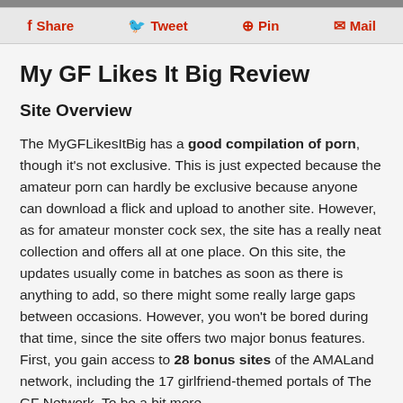Share  Tweet  Pin  Mail
My GF Likes It Big Review
Site Overview
The MyGFLikesItBig has a good compilation of porn, though it's not exclusive. This is just expected because the amateur porn can hardly be exclusive because anyone can download a flick and upload to another site. However, as for amateur monster cock sex, the site has a really neat collection and offers all at one place. On this site, the updates usually come in batches as soon as there is anything to add, so there might some really large gaps between occasions. However, you won't be bored during that time, since the site offers two major bonus features. First, you gain access to 28 bonus sites of the AMALand network, including the 17 girlfriend-themed portals of The GF Network. To be a bit more